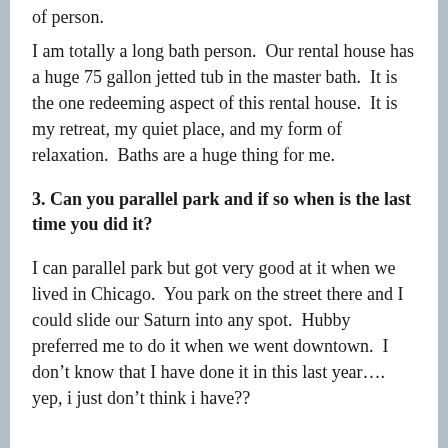of person.
I am totally a long bath person.  Our rental house has a huge 75 gallon jetted tub in the master bath.  It is the one redeeming aspect of this rental house.  It is my retreat, my quiet place, and my form of relaxation.  Baths are a huge thing for me.
3. Can you parallel park and if so when is the last time you did it?
I can parallel park but got very good at it when we lived in Chicago.  You park on the street there and I could slide our Saturn into any spot.  Hubby preferred me to do it when we went downtown.  I don’t know that I have done it in this last year…. yep, i just don’t think i have??